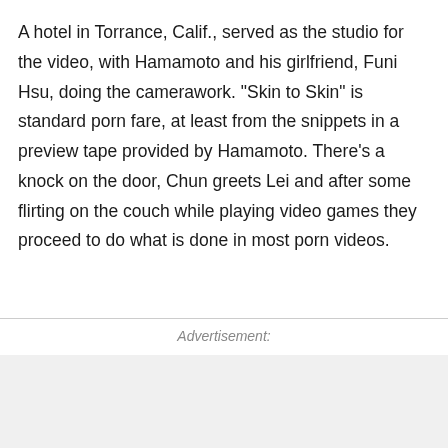A hotel in Torrance, Calif., served as the studio for the video, with Hamamoto and his girlfriend, Funi Hsu, doing the camerawork. "Skin to Skin" is standard porn fare, at least from the snippets in a preview tape provided by Hamamoto. There's a knock on the door, Chun greets Lei and after some flirting on the couch while playing video games they proceed to do what is done in most porn videos.
Advertisement: